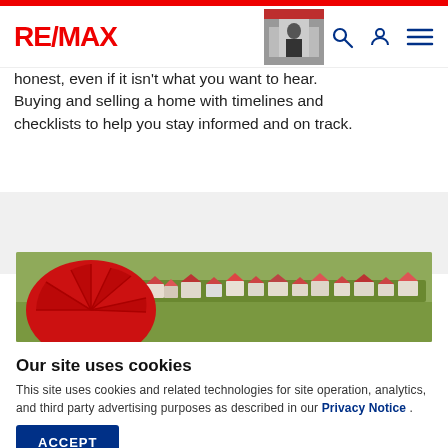RE/MAX
honest, even if it isn't what you want to hear. Buying and selling a home with timelines and checklists to help you stay informed and on track.
[Figure (photo): Aerial view of a residential neighborhood with a large red umbrella/balloon in the foreground and houses visible in the background against a green landscape.]
Our site uses cookies
This site uses cookies and related technologies for site operation, analytics, and third party advertising purposes as described in our Privacy Notice .
ACCEPT